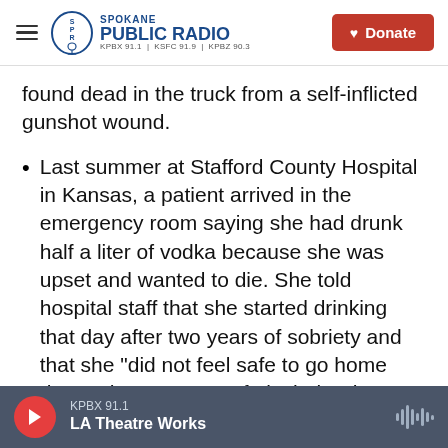Spokane Public Radio — KPBX 91.1 | KSFC 91.9 | KPBZ 90.3 — Donate
found dead in the truck from a self-inflicted gunshot wound.
Last summer at Stafford County Hospital in Kansas, a patient arrived in the emergency room saying she had drunk half a liter of vodka because she was upset and wanted to die. She told hospital staff that she started drinking that day after two years of sobriety and that she "did not feel safe to go home due to the presence of alcohol." The hospital discharged her 11 minutes later.
Earlier this year, inspectors found that a patient
KPBX 91.1 — LA Theatre Works